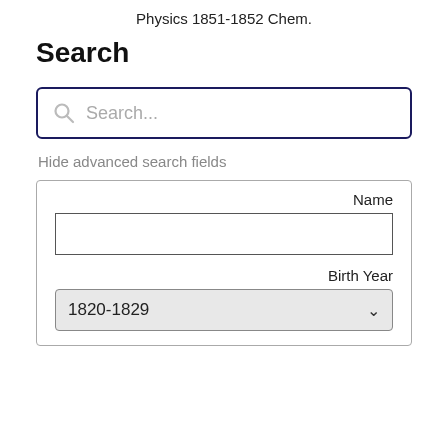Physics 1851-1852 Chem.
Search
[Figure (screenshot): Search input box with magnifying glass icon and placeholder text 'Search...' with dark navy border]
Hide advanced search fields
Name
[Figure (screenshot): Name text input field, empty, with gray border]
Birth Year
[Figure (screenshot): Birth Year dropdown selector showing '1820-1829' with dropdown arrow, gray background]